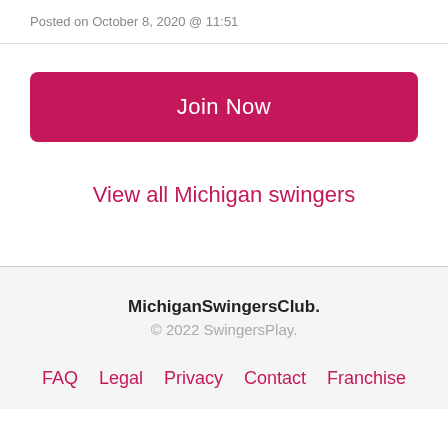Posted on October 8, 2020 @ 11:51
Join Now
View all Michigan swingers
MichiganSwingersClub.
© 2022 SwingersPlay.
FAQ  Legal  Privacy  Contact  Franchise